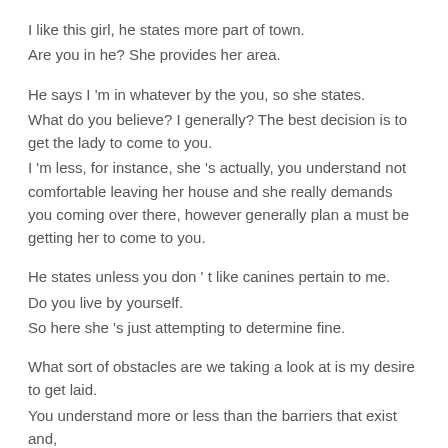I like this girl, he states more part of town.
Are you in he? She provides her area.
He says I 'm in whatever by the you, so she states.
What do you believe? I generally? The best decision is to get the lady to come to you.
I 'm less, for instance, she 's actually, you understand not comfortable leaving her house and she really demands you coming over there, however generally plan a must be getting her to come to you.
He states unless you don ' t like canines pertain to me.
Do you live by yourself.
So here she 's just attempting to determine fine.
What sort of obstacles are we taking a look at is my desire to get laid.
You understand more or less than the barriers that exist and,